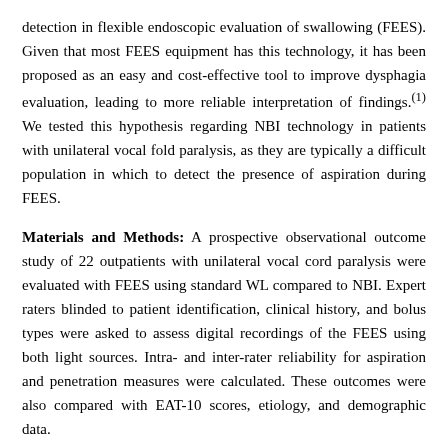detection in flexible endoscopic evaluation of swallowing (FEES). Given that most FEES equipment has this technology, it has been proposed as an easy and cost-effective tool to improve dysphagia evaluation, leading to more reliable interpretation of findings.(1) We tested this hypothesis regarding NBI technology in patients with unilateral vocal fold paralysis, as they are typically a difficult population in which to detect the presence of aspiration during FEES.
Materials and Methods: A prospective observational outcome study of 22 outpatients with unilateral vocal cord paralysis were evaluated with FEES using standard WL compared to NBI. Expert raters blinded to patient identification, clinical history, and bolus types were asked to assess digital recordings of the FEES using both light sources. Intra- and inter-rater reliability for aspiration and penetration measures were calculated. These outcomes were also compared with EAT-10 scores, etiology, and demographic data.
Results: Twenty-two patients were included in the study with expert ratings across 144 test conditions (72 WL vs. 72 NBI). There was no statistical significant difference between NBI and standard light in the detection of laryngeal penetration and aspiration with milk boluses in patients with unilateral vocal fold paralysis. Further results will be discussed including demographic data,